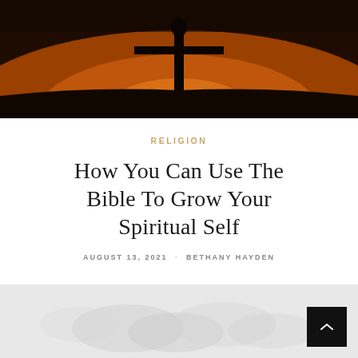[Figure (photo): Hero image showing a silhouette of a person with outstretched arms against a warm orange/amber sunset or backlight sky, dark dramatic tones]
RELIGION
How You Can Use The Bible To Grow Your Spiritual Self
AUGUST 13, 2021 · BETHANY HAYDEN
[Figure (photo): Partial bottom image showing hands in a grayscale/light grey toned photograph, background panel with a black scroll-to-top button with upward chevron arrow]